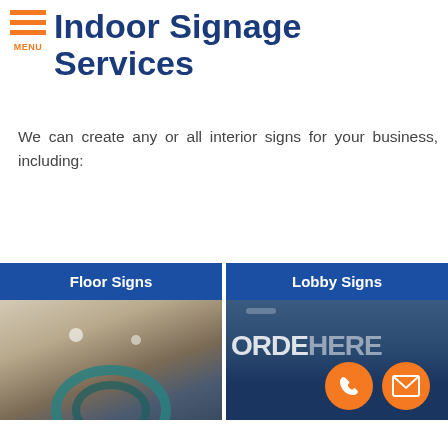MENU
Indoor Signage Services
We can create any or all interior signs for your business, including:
[Figure (photo): Floor Signs photo showing indoor sign installation with arc/wave design on wall]
Floor Signs
[Figure (photo): Lobby Signs photo showing a lobby sign with ORDER HERE text and orange call/email buttons overlay]
Lobby Signs